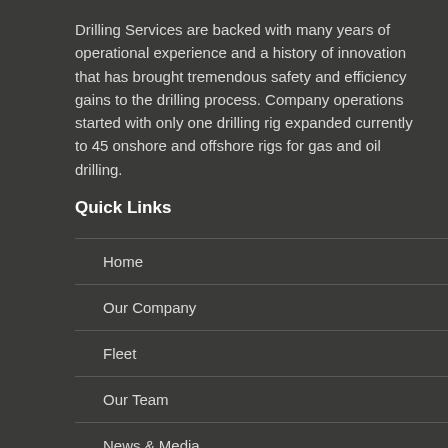Drilling Services are backed with many years of operational experience and a history of innovation that has brought tremendous safety and efficiency gains to the drilling process. Company operations started with only one drilling rig expanded currently to 45 onshore and offshore rigs for gas and oil drilling.
Quick Links
Home
Our Company
Fleet
Our Team
News & Media
Contact Us